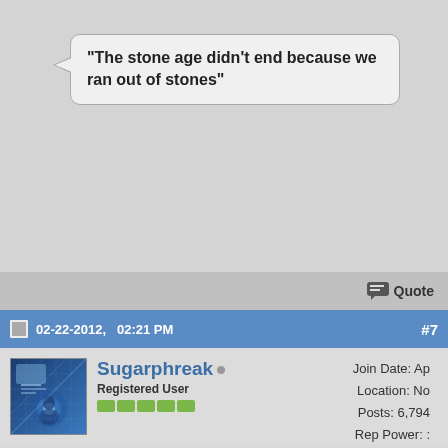"The stone age didn't end because we ran out of stones"
Quote
02-22-2012,   02:21 PM
#7
[Figure (photo): User avatar - tech/data imagery in blue tones]
Sugarphreak
Registered User
Join Date: Ap
Location: No
Posts: 6,794
Rep Power: :
...
Last edited by Sugarphreak; 07-09-2019 at 12:31 AM.